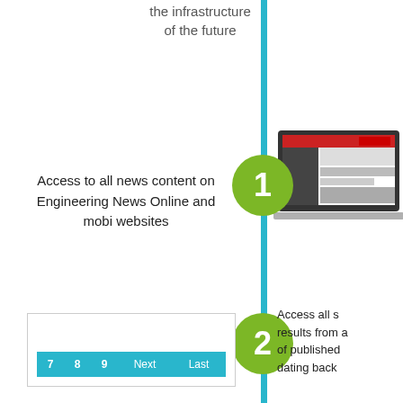the infrastructure of the future
Access to all news content on Engineering News Online and mobi websites
[Figure (screenshot): Laptop showing Engineering News Online website]
[Figure (screenshot): Pagination bar showing page numbers 7, 8, 9, Next, Last]
Access all s results from a of published dating back